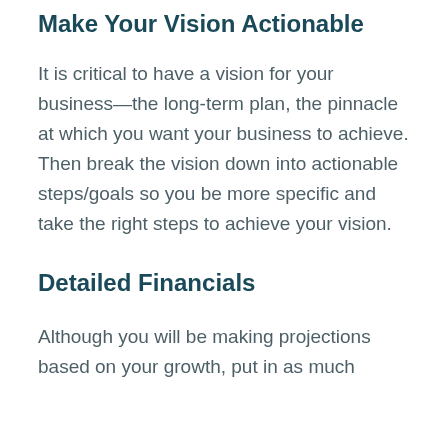Make Your Vision Actionable
It is critical to have a vision for your business—the long-term plan, the pinnacle at which you want your business to achieve. Then break the vision down into actionable steps/goals so you be more specific and take the right steps to achieve your vision.
Detailed Financials
Although you will be making projections based on your growth, put in as much